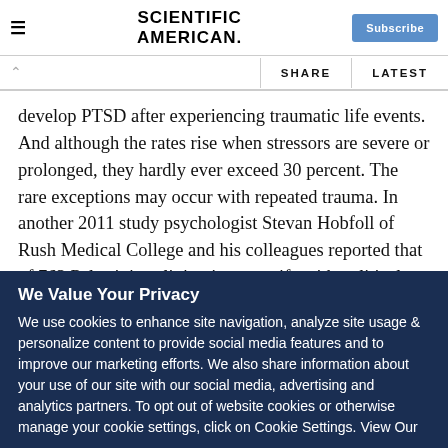SCIENTIFIC AMERICAN
SHARE   LATEST
develop PTSD after experiencing traumatic life events. And although the rates rise when stressors are severe or prolonged, they hardly ever exceed 30 percent. The rare exceptions may occur with repeated trauma. In another 2011 study psychologist Stevan Hobfoll of Rush Medical College and his colleagues reported that of 763 Palestinians living in areas rife with political violence, more than 70 percent exhibited moderate PTSD symptoms and about 26 percent had severe symptoms.
We Value Your Privacy
We use cookies to enhance site navigation, analyze site usage & personalize content to provide social media features and to improve our marketing efforts. We also share information about your use of our site with our social media, advertising and analytics partners. To opt out of website cookies or otherwise manage your cookie settings, click on Cookie Settings. View Our